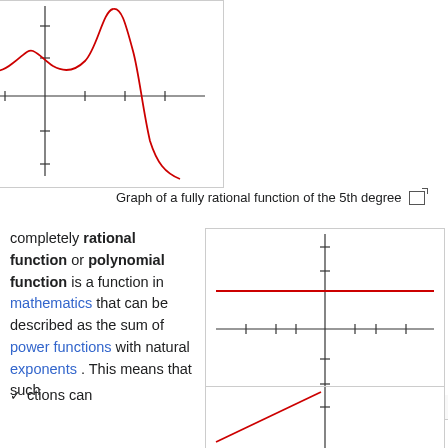[Figure (continuous-plot): Graph of a fully rational function of the 5th degree — a red curve with multiple local maxima and minima plotted on a Cartesian grid]
Graph of a fully rational function of the 5th degree
completely rational function or polynomial function is a function in mathematics that can be described as the sum of power functions with natural exponents . This means that such functions can
[Figure (continuous-plot): Graph of a polynomial of degree 0, f(x) = 2 — a horizontal red line at y=2 on a Cartesian grid]
Polynomial of degree 0, f(x) = 2
[Figure (continuous-plot): Partial view of a polynomial graph — a red diagonal line visible at the bottom of the page]